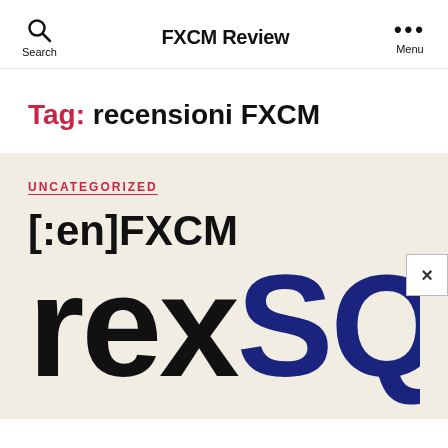FXCM Review
Tag: recensioni FXCM
UNCATEGORIZED
[:en]FXCM
[Figure (logo): Partial logo showing 'rexSQ' in large bold text, black 'rex' and dark blue 'SQ']